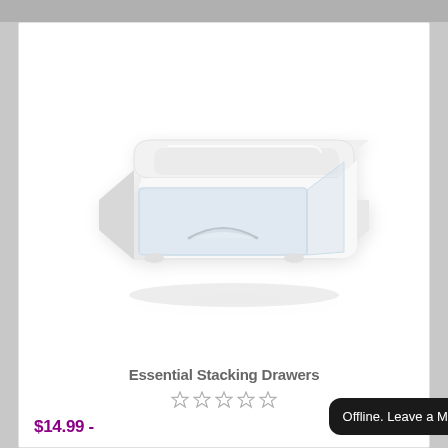[Figure (photo): White plastic stacking drawer storage unit with clear translucent front drawer, viewed from a slight angle above. The drawer has a white frame/body and the front panel is semi-transparent. A handle ridge is visible on the front of the drawer.]
Essential Stacking Drawers
★★★★★ (5 empty/outline stars in grey)
$14.99 -
Offline. Leave a Message. ✉